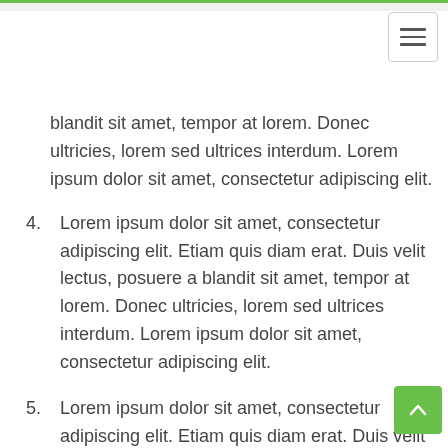blandit sit amet, tempor at lorem. Donec ultricies, lorem sed ultrices interdum. Lorem ipsum dolor sit amet, consectetur adipiscing elit.
4. Lorem ipsum dolor sit amet, consectetur adipiscing elit. Etiam quis diam erat. Duis velit lectus, posuere a blandit sit amet, tempor at lorem. Donec ultricies, lorem sed ultrices interdum. Lorem ipsum dolor sit amet, consectetur adipiscing elit.
5. Lorem ipsum dolor sit amet, consectetur adipiscing elit. Etiam quis diam erat. Duis velit lectus, posuere a blandit sit amet, tempor at lorem. Donec ultricies, lorem sed ultrices interdum. Lorem ipsum dolor sit amet, consectetur adipiscing elit.
6. Lorem ipsum dolor sit amet, consectetur adipiscing elit. Etiam quis diam erat. Duis velit lectus, posuere a blandit sit amet, tempor at lorem. Donec ultricies,